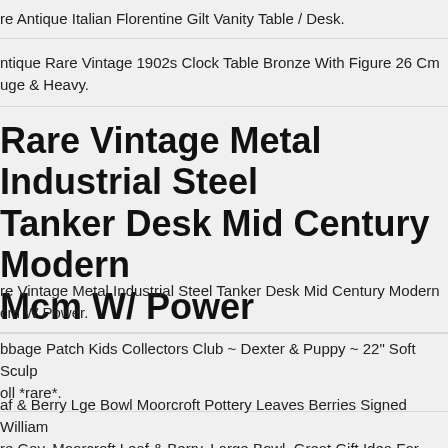re Antique Italian Florentine Gilt Vanity Table / Desk.
ntique Rare Vintage 1902s Clock Table Bronze With Figure 26 Cm uge & Heavy.
Rare Vintage Metal Industrial Steel Tanker Desk Mid Century Modern Mcm W/ Power
re Vintage Metal Industrial Steel Tanker Desk Mid Century Modern cm W Power.
bbage Patch Kids Collectors Club ~ Dexter & Puppy ~ 22" Soft Sculp oll *rare*.
af & Berry Lge Bowl Moorcroft Pottery Leaves Berries Signed William re Gay. Moorcroft Leaf & Berry. Large Bowl. Great Gift Idea For The n Or Collector. Good Condition As You Can See By The Pics.